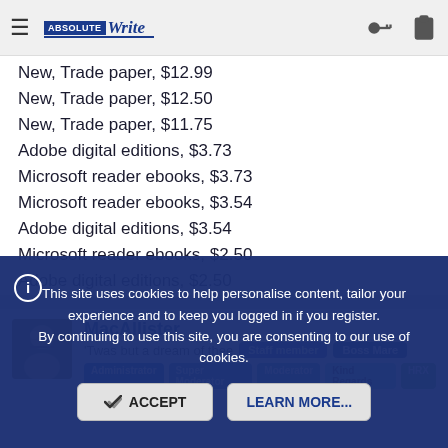AbsoluteWrite — logo and navigation icons
New, Trade paper, $12.99
New, Trade paper, $12.50
New, Trade paper, $11.75
Adobe digital editions, $3.73
Microsoft reader ebooks, $3.73
Microsoft reader ebooks, $3.54
Adobe digital editions, $3.54
Microsoft reader ebooks, $2.50
Adobe digital editions, $2.50
MacAllister
'Twas but a dream of thee  [Staff member] [Boss Mare]
[Administrator] [Super Moderator] [Moderator] [Kind Regards] [HRX]
This site uses cookies to help personalise content, tailor your experience and to keep you logged in if you register.
By continuing to use this site, you are consenting to our use of cookies.